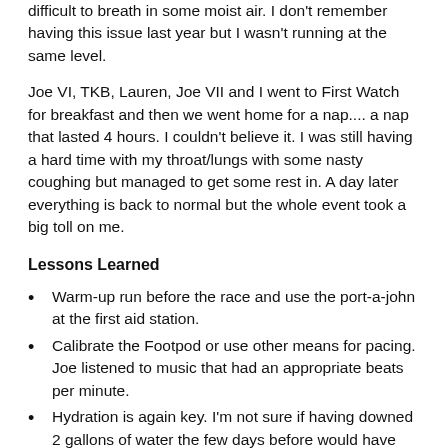difficult to breath in some moist air.  I don't remember having this issue last year but I wasn't running at the same level.
Joe VI, TKB, Lauren, Joe VII and I went to First Watch for breakfast and then we went home for a nap....  a nap that lasted 4 hours.  I couldn't believe it.  I was still having a hard time with my throat/lungs with some nasty coughing but managed to get some rest in.  A day later everything is back to normal but the whole event took a big toll on me.
Lessons Learned
Warm-up run before the race and use the port-a-john at the first aid station.
Calibrate the Footpod or use other means for pacing.  Joe listened to music that had an appropriate beats per minute.
Hydration is again key.  I'm not sure if having downed 2 gallons of water the few days before would have helped with the stale air, but maybe it would have done something.